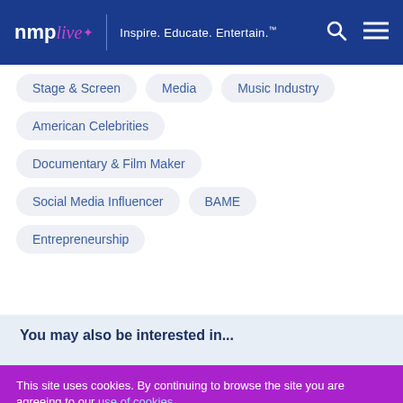nmp live — Inspire. Educate. Entertain.
Stage & Screen
Media
Music Industry
American Celebrities
Documentary & Film Maker
Social Media Influencer
BAME
Entrepreneurship
You may also be interested in...
This site uses cookies. By continuing to browse the site you are agreeing to our use of cookies.